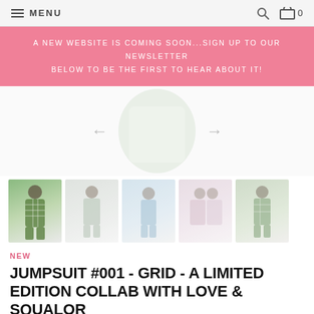MENU  🔍  🛒 0
A NEW WEBSITE IS COMING SOON...SIGN UP TO OUR NEWSLETTER BELOW TO BE THE FIRST TO HEAR ABOUT IT!
[Figure (photo): Main product image area with left and right navigation arrows (← →), above a row of 5 thumbnail images showing models wearing jumpsuits in various styles and colors (green grid pattern, white/light pattern, blue stripes, pink/light, green grid).]
NEW
JUMPSUIT #001 - GRID - A LIMITED EDITION COLLAB WITH LOVE & SQUALOR